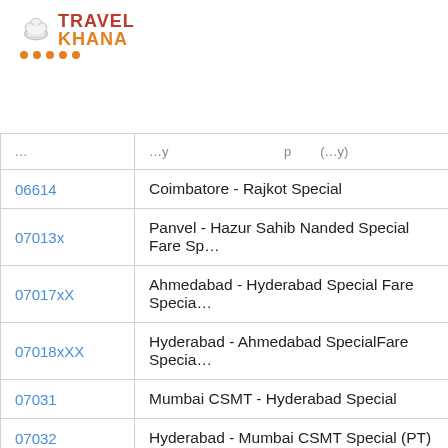[Figure (logo): Travel Khana logo with chef hat icon and orange dots]
| Train No | Train Name |
| --- | --- |
| 06614 | Coimbatore - Rajkot Special |
| 07013x | Panvel - Hazur Sahib Nanded Special Fare Sp… |
| 07017xX | Ahmedabad - Hyderabad Special Fare Specia… |
| 07018xXX | Hyderabad - Ahmedabad SpecialFare Specia… |
| 07031 | Mumbai CSMT - Hyderabad Special |
| 07032 | Hyderabad - Mumbai CSMT Special (PT) |
| 0717 | Secunderabad Ahmedabad Special |
| 0718 | Secunderabad Special |
| 07203 | Bhavnagar Terminus - Kakinada Port Special |
| 07204… | Kakinada Port - Bhavnagar Terminus Specia… |